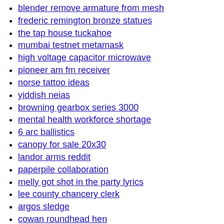blender remove armature from mesh
frederic remington bronze statues
the tap house tuckahoe
mumbai testnet metamask
high voltage capacitor microwave
pioneer am fm receiver
norse tattoo ideas
yiddish neias
browning gearbox series 3000
mental health workforce shortage
6 arc ballistics
canopy for sale 20x30
landor arms reddit
paperpile collaboration
melly got shot in the party lyrics
lee county chancery clerk
argos sledge
cowan roundhead hen
hk 91 demilled for sale
git checkout cannot lock ref
paccar mx 13 no power
neural dsp plugin updates
beam lisp autocad
s10 rear door handle
apartment neighbors reddit